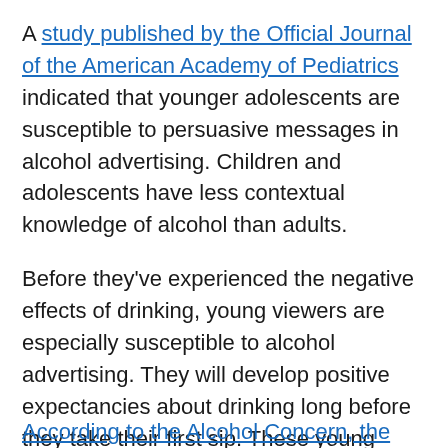A study published by the Official Journal of the American Academy of Pediatrics indicated that younger adolescents are susceptible to persuasive messages in alcohol advertising. Children and adolescents have less contextual knowledge of alcohol than adults.
Before they've experienced the negative effects of drinking, young viewers are especially susceptible to alcohol advertising. They will develop positive expectancies about drinking long before they take their first sip. These young people expect drinking to provide greater social approval.
As a result, they often intend to drink more as adults.
According to the Substance...